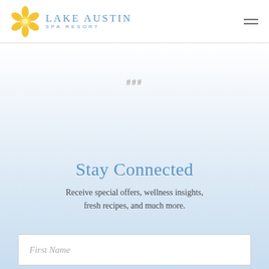[Figure (logo): Lake Austin Spa Resort logo with yellow flower/daisy icon and blue text reading Lake Austin Spa Resort]
###
Stay Connected
Receive special offers, wellness insights, fresh recipes, and much more.
First Name